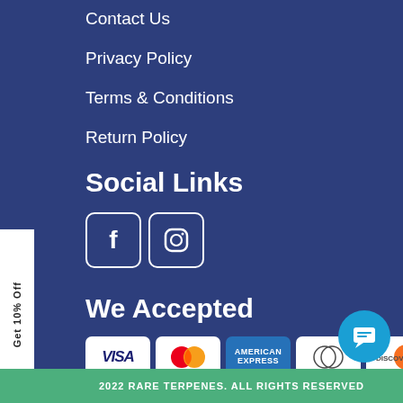Contact Us
Privacy Policy
Terms & Conditions
Return Policy
Social Links
[Figure (other): Facebook and Instagram social media icons]
We Accepted
[Figure (other): Payment method icons: Visa, Mastercard, American Express, Diners Club, Discover]
Get 10% Off
2022 RARE TERPENES. ALL RIGHTS RESERVED